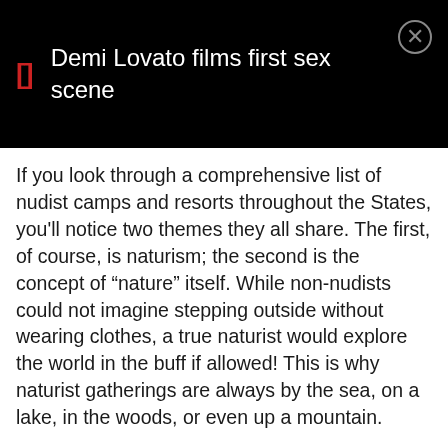Demi Lovato films first sex scene
If you look through a comprehensive list of nudist camps and resorts throughout the States, you'll notice two themes they all share. The first, of course, is naturism; the second is the concept of “nature” itself. While non-nudists could not imagine stepping outside without wearing clothes, a true naturist would explore the world in the buff if allowed! This is why naturist gatherings are always by the sea, on a lake, in the woods, or even up a mountain.
The Bare Mountain Retreat is just 30 minutes from Boise, Idaho, and during the summer, you can hike naked to the top of the mountain to enjoy a majestic, alpine vista not to be forgotten. And over in Colorado, just 20 miles from the city of Denver, lies the Mountain Air Ranch in the foothills